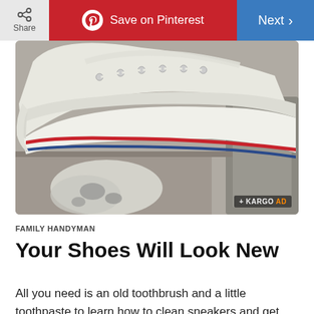Share | Save on Pinterest | Next
[Figure (photo): Close-up photo of dirty white Converse sneakers being cleaned, with soap/toothpaste foam visible on the sole, near a sink drain. KARGO AD badge visible in lower right of image.]
FAMILY HANDYMAN
Your Shoes Will Look New
All you need is an old toothbrush and a little toothpaste to learn how to clean sneakers and get your old sneakers looking like new! Non-gel white toothpaste works great for cleaning white-